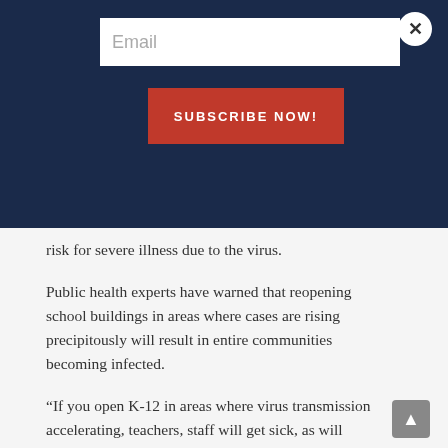Email
SUBSCRIBE NOW!
risk for severe illness due to the virus.
Public health experts have warned that reopening school buildings in areas where cases are rising precipitously will result in entire communities becoming infected.
“If you open K-12 in areas where virus transmission accelerating, teachers, staff will get sick, as will parents,” tweeted Peter Hotez, an infectious disease expert and the dean of the National School of Tropical Medicine at Baylor College of Medicine. “All it takes is for one or two teachers, staff, or